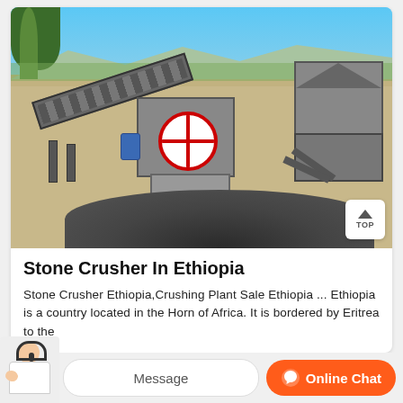[Figure (photo): Outdoor photo of a stone crushing plant/machinery in Ethiopia, showing conveyor belts, crusher equipment with red circular emblem, metal structures, and a pile of dark rocks in the foreground. Blue sky and distant hills in background.]
Stone Crusher In Ethiopia
Stone Crusher Ethiopia,Crushing Plant Sale Ethiopia ... Ethiopia is a country located in the Horn of Africa. It is bordered by Eritrea to the